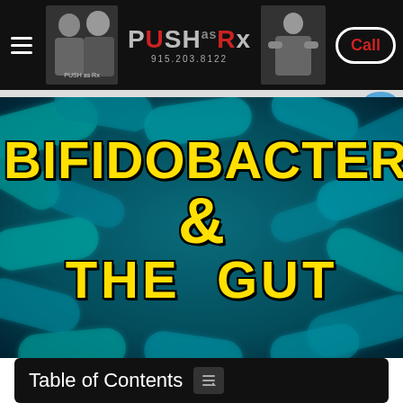[Figure (screenshot): Website header with hamburger menu, two people photos, PUSH as Rx logo with phone number 915.203.8122, athlete photo, and Call button on black background]
[Figure (photo): Close-up microscopic image of bifidobacteria glowing teal/cyan on dark background with bold yellow text overlay reading BIFIDOBACTERIA & THE GUT]
BIFIDOBACTERIA & THE GUT
[Figure (infographic): Row of 9 social media sharing icons: Facebook, Messenger, Twitter, Pinterest, LinkedIn, WhatsApp, Reddit, Tumblr, StumbleUpon]
Table of Contents